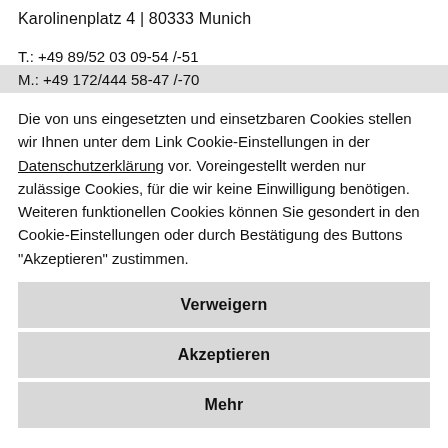Karolinenplatz 4 | 80333 Munich
T.: +49 89/52 03 09-54 /-51
M.: +49 172/444 58-47 /-70
Die von uns eingesetzten und einsetzbaren Cookies stellen wir Ihnen unter dem Link Cookie-Einstellungen in der Datenschutzerklärung vor. Voreingestellt werden nur zulässige Cookies, für die wir keine Einwilligung benötigen. Weiteren funktionellen Cookies können Sie gesondert in den Cookie-Einstellungen oder durch Bestätigung des Buttons "Akzeptieren" zustimmen.
Verweigern
Akzeptieren
Mehr